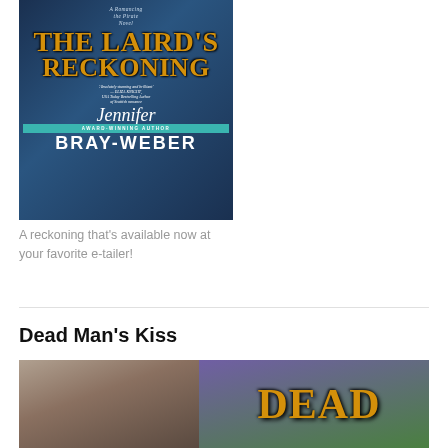[Figure (illustration): Book cover for 'The Laird's Reckoning' — A Romancing the Pirate Novel by Jennifer Bray-Weber, featuring a man and woman in pirate attire against a dark blue/ocean background. Gold ornate title text, teal award-winning author bar, white cursive author first name.]
A reckoning that's available now at your favorite e-tailer!
Dead Man's Kiss
[Figure (illustration): Partial book cover for 'Dead Man's Kiss' showing a man with long dark hair against a purple/green background with gold ornate 'DEAD' text visible.]